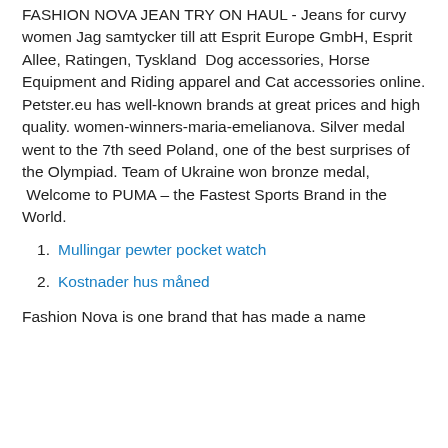FASHION NOVA JEAN TRY ON HAUL - Jeans for curvy women Jag samtycker till att Esprit Europe GmbH, Esprit Allee, Ratingen, Tyskland  Dog accessories, Horse Equipment and Riding apparel and Cat accessories online. Petster.eu has well-known brands at great prices and high quality. women-winners-maria-emelianova. Silver medal went to the 7th seed Poland, one of the best surprises of the Olympiad. Team of Ukraine won bronze medal,  Welcome to PUMA – the Fastest Sports Brand in the World.
Mullingar pewter pocket watch
Kostnader hus måned
Fashion Nova is one brand that has made a name